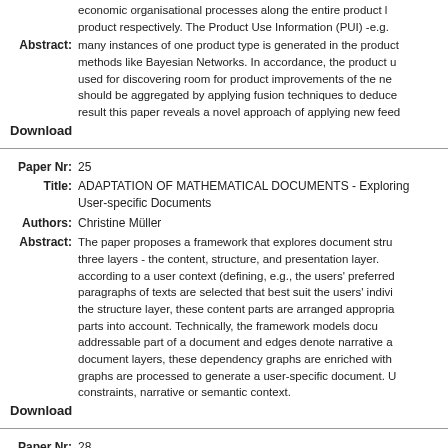economic organisational processes along the entire product lifecycle of a product respectively. The Product Use Information (PUI) -e.g. many instances of one product type is generated in the product methods like Bayesian Networks. In accordance, the product used for discovering room for product improvements of the next generation should be aggregated by applying fusion techniques to deduce result this paper reveals a novel approach of applying new feed
Download
Paper Nr: 25
Title: ADAPTATION OF MATHEMATICAL DOCUMENTS - Exploring User-specific Documents
Authors: Christine Müller
Abstract: The paper proposes a framework that explores document structure in three layers - the content, structure, and presentation layer. according to a user context (defining, e.g., the users' preferred paragraphs of texts are selected that best suit the users' individual the structure layer, these content parts are arranged appropriately parts into account. Technically, the framework models document addressable part of a document and edges denote narrative document layers, these dependency graphs are enriched with graphs are processed to generate a user-specific document. constraints, narrative or semantic context.
Download
Paper Nr: 28